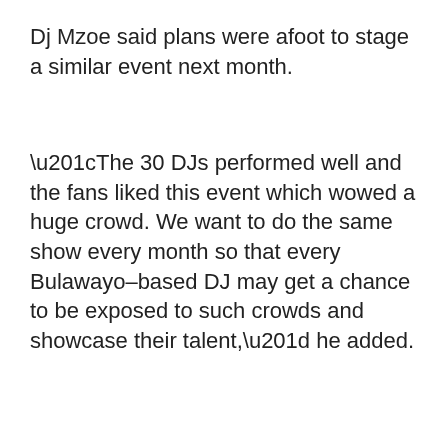Dj Mzoe said plans were afoot to stage a similar event next month.
“The 30 DJs performed well and the fans liked this event which wowed a huge crowd. We want to do the same show every month so that every Bulawayo–based DJ may get a chance to be exposed to such crowds and showcase their talent,” he added.